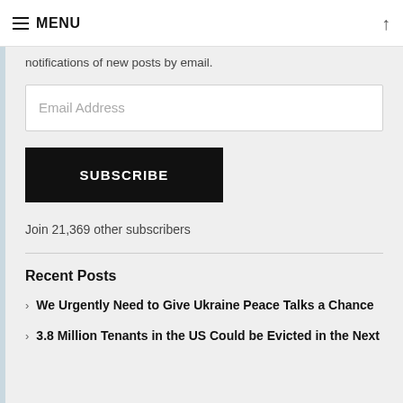≡ MENU ↑
notifications of new posts by email.
Email Address
SUBSCRIBE
Join 21,369 other subscribers
Recent Posts
We Urgently Need to Give Ukraine Peace Talks a Chance
3.8 Million Tenants in the US Could be Evicted in the Next